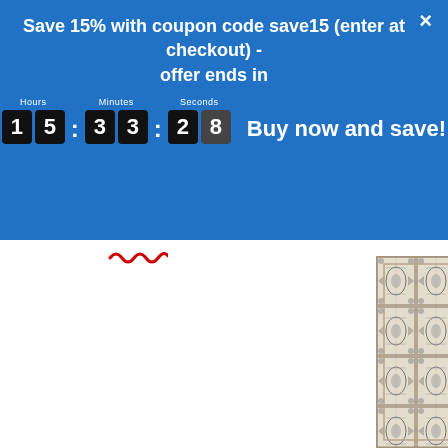Save 15% with coupon code save15 (enter at checkout) - offer ends in
[Figure (screenshot): Countdown timer showing 15 hours, 33 minutes, 28 seconds with black digit boxes on blue background, followed by 'Buy now and save!' text]
[Figure (photo): A tall narrow strip of a traditional patterned rug or textile with ornate designs in cream, beige, and dark tones, showing repetitive medallion patterns]